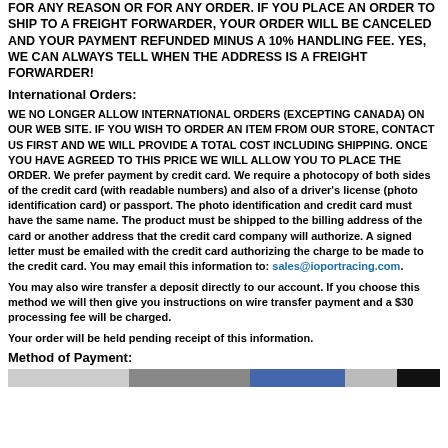FOR ANY REASON OR FOR ANY ORDER. IF YOU PLACE AN ORDER TO SHIP TO A FREIGHT FORWARDER, YOUR ORDER WILL BE CANCELED AND YOUR PAYMENT REFUNDED MINUS A 10% HANDLING FEE. YES, WE CAN ALWAYS TELL WHEN THE ADDRESS IS A FREIGHT FORWARDER!
International Orders:
WE NO LONGER ALLOW INTERNATIONAL ORDERS (EXCEPTING CANADA) ON OUR WEB SITE. IF YOU WISH TO ORDER AN ITEM FROM OUR STORE, CONTACT US FIRST AND WE WILL PROVIDE A TOTAL COST INCLUDING SHIPPING. ONCE YOU HAVE AGREED TO THIS PRICE WE WILL ALLOW YOU TO PLACE THE ORDER. We prefer payment by credit card. We require a photocopy of both sides of the credit card (with readable numbers) and also of a driver's license (photo identification card) or passport. The photo identification and credit card must have the same name. The product must be shipped to the billing address of the card or another address that the credit card company will authorize. A signed letter must be emailed with the credit card authorizing the charge to be made to the credit card. You may email this information to: sales@ioportracing.com.
You may also wire transfer a deposit directly to our account. If you choose this method we will then give you instructions on wire transfer payment and a $30 processing fee will be charged.
Your order will be held pending receipt of this information.
Method of Payment:
[Figure (photo): A strip of payment method logos/images at the bottom of the page]